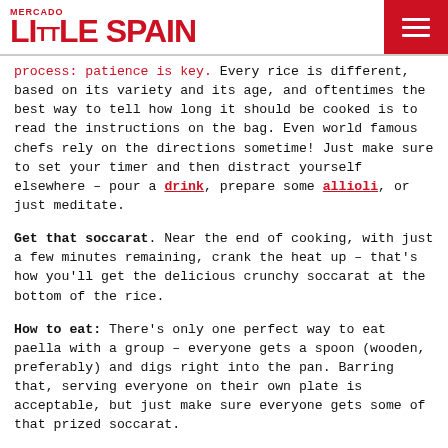MERCADO LITTLE SPAIN
process: patience is key. Every rice is different, based on its variety and its age, and oftentimes the best way to tell how long it should be cooked is to read the instructions on the bag. Even world famous chefs rely on the directions sometime! Just make sure to set your timer and then distract yourself elsewhere – pour a drink, prepare some allioli, or just meditate.
Get that soccarat. Near the end of cooking, with just a few minutes remaining, crank the heat up – that's how you'll get the delicious crunchy soccarat at the bottom of the rice.
How to eat: There's only one perfect way to eat paella with a group – everyone gets a spoon (wooden, preferably) and digs right into the pan. Barring that, serving everyone on their own plate is acceptable, but just make sure everyone gets some of that prized soccarat.